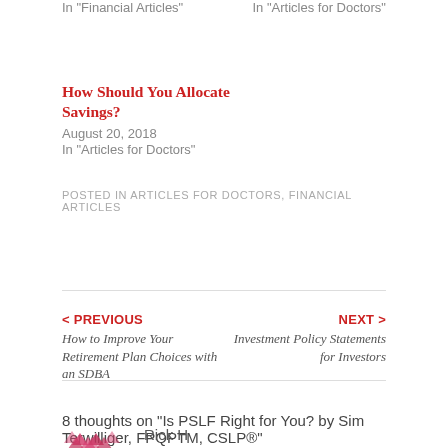In "Articles for Doctors"
How Should You Allocate Savings?
August 20, 2018
In "Articles for Doctors"
POSTED IN ARTICLES FOR DOCTORS, FINANCIAL ARTICLES
< PREVIOUS
How to Improve Your Retirement Plan Choices with an SDBA
NEXT >
Investment Policy Statements for Investors
8 thoughts on “Is PSLF Right for You? by Sim Terwilliger, FPQPTM, CSLP®”
Rick H